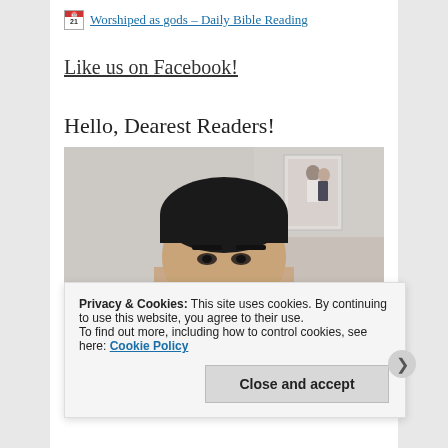Worshiped as gods – Daily Bible Reading
Like us on Facebook!
Hello, Dearest Readers!
[Figure (photo): Close-up photo of a person's face (man with dark hair), with a framed wedding photo visible in the background on the wall]
Privacy & Cookies: This site uses cookies. By continuing to use this website, you agree to their use.
To find out more, including how to control cookies, see here: Cookie Policy
Close and accept